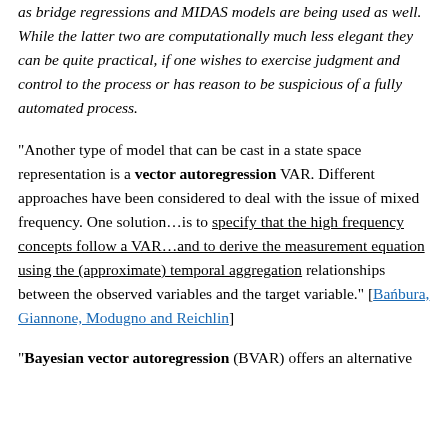as bridge regressions and MIDAS models are being used as well. While the latter two are computationally much less elegant they can be quite practical, if one wishes to exercise judgment and control to the process or has reason to be suspicious of a fully automated process.
"Another type of model that can be cast in a state space representation is a vector autoregression VAR. Different approaches have been considered to deal with the issue of mixed frequency. One solution…is to specify that the high frequency concepts follow a VAR…and to derive the measurement equation using the (approximate) temporal aggregation relationships between the observed variables and the target variable." [Bańbura, Giannone, Modugno and Reichlin]
"Bayesian vector autoregression (BVAR) offers an alternative